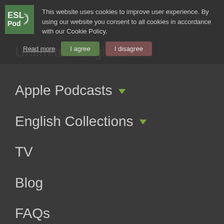[Figure (logo): ESL POD logo - green square with ESL POD text]
This website uses cookies to improve user experience. By using our website you consent to all cookies in accordance with our Cookie Policy.
Read more | I agree | I disagree
Unlimited English ▾
Apple Podcasts ▾
English Collections ▾
TV
Blog
FAQs
Login ▾